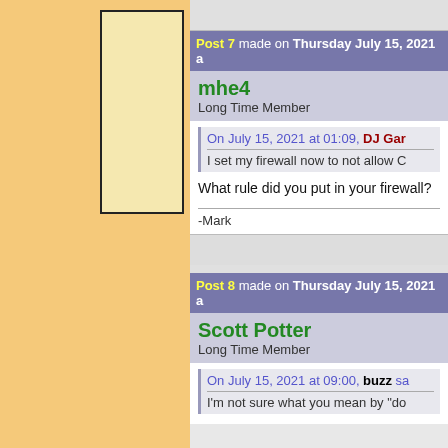[Figure (illustration): Left panel with orange/tan background and a white avatar placeholder box with black border]
Post 7 made on Thursday July 15, 2021 a
mhe4
Long Time Member
On July 15, 2021 at 01:09, DJ Gar
I set my firewall now to not allow C
What rule did you put in your firewall?
-Mark
Post 8 made on Thursday July 15, 2021 a
Scott Potter
Long Time Member
On July 15, 2021 at 09:00, buzz sa
I'm not sure what you mean by "do